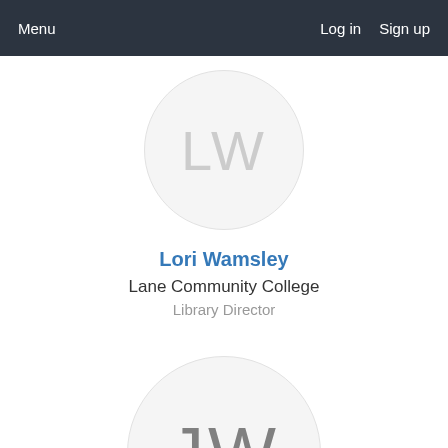Menu   Log in   Sign up
[Figure (illustration): Circular avatar with initials LW in light gray on a light gray circle background, partially cropped at top]
Lori Wamsley
Lane Community College
Library Director
[Figure (illustration): Circular avatar with initials JW in medium gray on a light gray circle background]